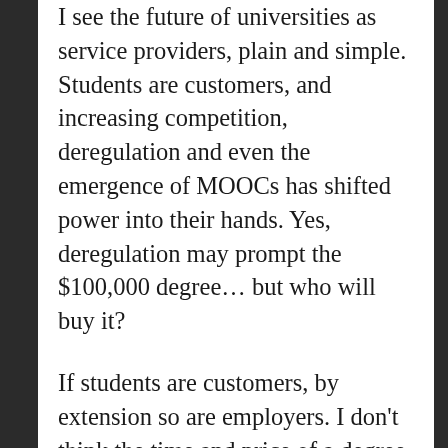I see the future of universities as service providers, plain and simple. Students are customers, and increasing competition, deregulation and even the emergence of MOOCs has shifted power into their hands. Yes, deregulation may prompt the $100,000 degree… but who will buy it?
If students are customers, by extension so are employers. I don't think the time and price of a degree are such big issues for them; instead I think it's the relevance of the degree. Whether or not we agree the role of the university is to prepare students for the workplace, I think it's